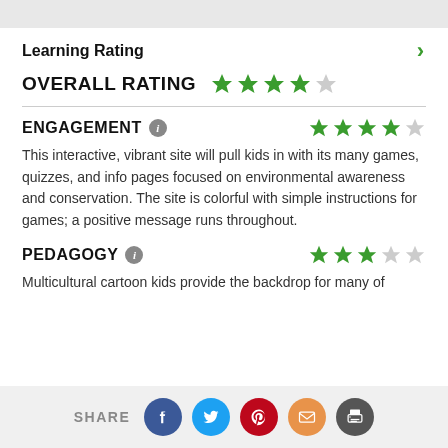Learning Rating
OVERALL RATING ★★★★☆
ENGAGEMENT ℹ ★★★★☆
This interactive, vibrant site will pull kids in with its many games, quizzes, and info pages focused on environmental awareness and conservation. The site is colorful with simple instructions for games; a positive message runs throughout.
PEDAGOGY ℹ ★★★☆☆
Multicultural cartoon kids provide the backdrop for many of
SHARE